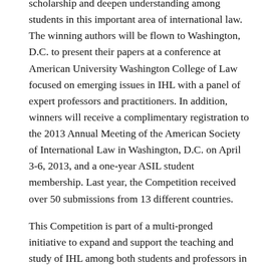scholarship and deepen understanding among students in this important area of international law. The winning authors will be flown to Washington, D.C. to present their papers at a conference at American University Washington College of Law focused on emerging issues in IHL with a panel of expert professors and practitioners. In addition, winners will receive a complimentary registration to the 2013 Annual Meeting of the American Society of International Law in Washington, D.C. on April 3-6, 2013, and a one-year ASIL student membership. Last year, the Competition received over 50 submissions from 13 different countries.
This Competition is part of a multi-pronged initiative to expand and support the teaching and study of IHL among both students and professors in which both the Center and ASIL have been deeply involved. In 2007, the Center published a study with